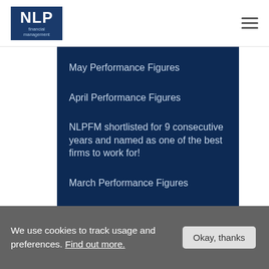[Figure (logo): NLP Financial Management logo — dark blue box with NLP in large white bold text and 'financial management' in small lighter text below]
May Performance Figures
April Performance Figures
NLPFM shortlisted for 9 consecutive years and named as one of the best firms to work for!
March Performance Figures
February Performance Figures
Categories
We use cookies to track usage and preferences. Find out more.